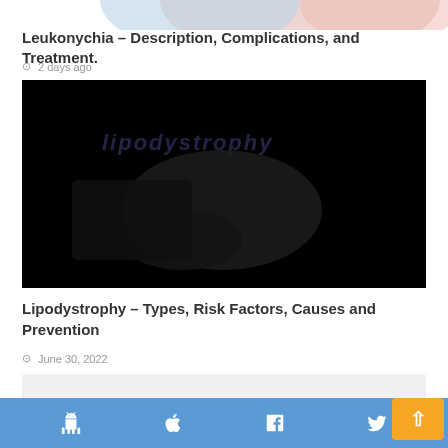[Figure (photo): Partial top of a medical image with pink and blue colors visible at top of page]
Leukonychia – Description, Complications, and Treatment.
⊙ 2 days ago
[Figure (photo): Dark/black image with faint 'lipodystrophy' text watermark visible in dark tones]
Lipodystrophy – Types, Risk Factors, Causes and Prevention
⊙ June 30, 2022
Android icon  Apple icon  Facebook icon  Twitter icon